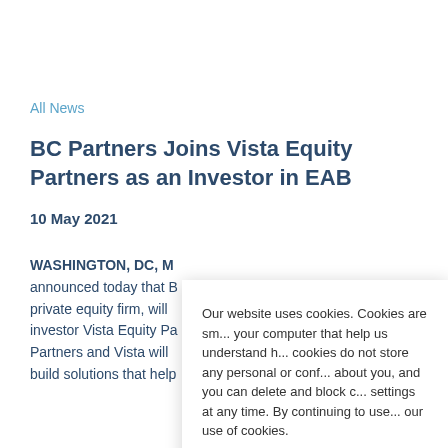All News
BC Partners Joins Vista Equity Partners as an Investor in EAB
10 May 2021
WASHINGTON, DC, M... announced today that B... private equity firm, will... investor Vista Equity Pa... Partners and Vista will... build solutions that help...
Our website uses cookies. Cookies are sm... your computer that help us understand h... cookies do not store any personal or conf... about you, and you can delete and block c... settings at any time. By continuing to use... our use of cookies.
Hide this message    Find out more